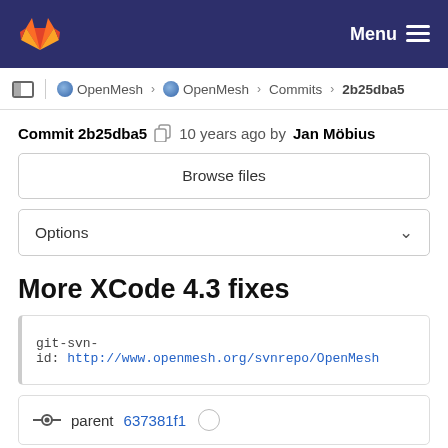Menu
OpenMesh > OpenMesh > Commits > 2b25dba5
Commit 2b25dba5  10 years ago by Jan Möbius
Browse files
Options
More XCode 4.3 fixes
git-svn-id: http://www.openmesh.org/svnrepo/OpenMesh
parent 637381f1